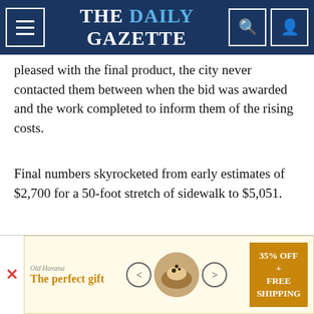THE DAILY GAZETTE
pleased with the final product, the city never contacted them between when the bid was awarded and the work completed to inform them of the rising costs.
Final numbers skyrocketed from early estimates of $2,700 for a 50-foot stretch of sidewalk to $5,051.
The lack of communication has rattled DeCamp Avenue homeowners who are next in line to receive the upgrades.
City officials acknowledged communication has been poor, but have yet to reach a consensus on
[Figure (other): Advertisement banner: 'The perfect gift' with food image and '35% OFF + FREE SHIPPING' offer]